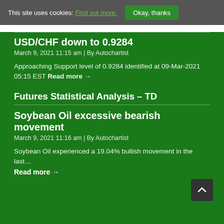This site uses cookies: Find out more. Okay, thanks
USD/CHF down to 0.9284
March 9, 2021 11:15 am | By Autochartist
Approaching Support level of 0.9284 identified at 09-Mar-2021 05:15 EST Read more →
Futures Statistical Analysis – TD
Soybean Oil excessive bearish movement
March 9, 2021 11:16 am | By Autochartist
Soybean Oil experienced a 19.04% bullish movement in the last…
Read more →